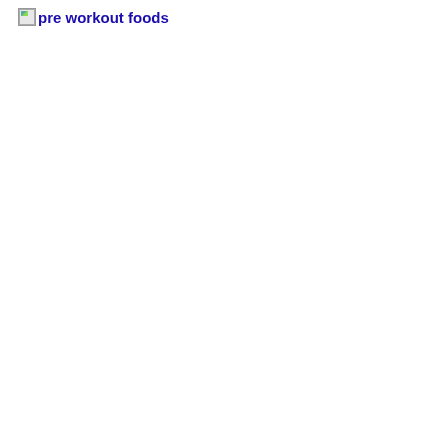[Figure (photo): Broken image placeholder link labeled 'pre workout foods']
[Figure (photo): Broken image placeholder link labeled 'breakfast food']
[Figure (photo): Broken image placeholder link labeled 'Top 5 Cyclist Training Tips5']
5. Swap salt for spice
Many of us have too much salt in our diets and given the out-of-control levels of sodium in many processed foods, it can be difficult to stay within the recommended guidelines. However, salt is a big cause of weight gain and can also cause us to feel hungrier and thirstier, thereby eating and drinking even more. While a certain amount of sodium is essential for good health (around 1-3 tsp a day, depending